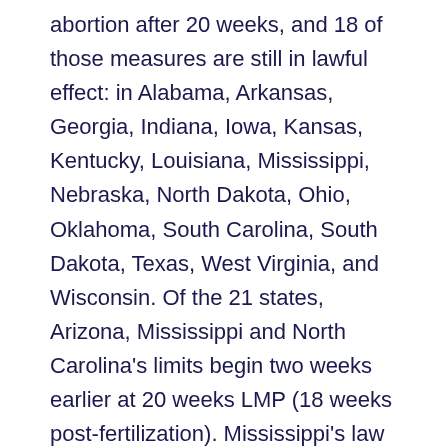abortion after 20 weeks, and 18 of those measures are still in lawful effect: in Alabama, Arkansas, Georgia, Indiana, Iowa, Kansas, Kentucky, Louisiana, Mississippi, Nebraska, North Dakota, Ohio, Oklahoma, South Carolina, South Dakota, Texas, West Virginia, and Wisconsin. Of the 21 states, Arizona, Mississippi and North Carolina's limits begin two weeks earlier at 20 weeks LMP (18 weeks post-fertilization). Mississippi's law has gone unchallenged. Arizona's 20-week LMP restriction was struck down by the Ninth Circuit Court of Appeals in Isaacson v. Horne, 716 F.3d 1213 (2013), cert den., 571 U.S. 1127 (2014), and Idaho's 20-week post-fertilization (22 weeks LMP) restriction was enjoined in McCormack v. Herzog, 788 F.3d 1017, 1029 (9th Cir. 2015). North Carolina's law was recently enjoined by a trial court, adopting reasoning similar to the